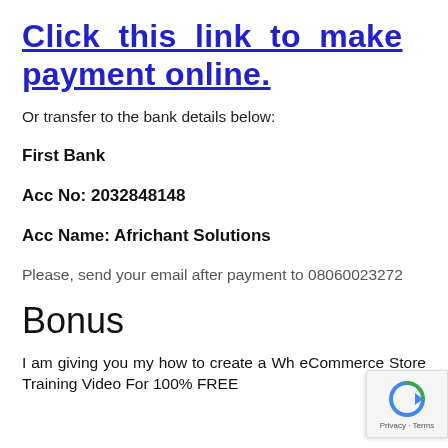Click this link to make payment online.
Or transfer to the bank details below:
First Bank
Acc No: 2032848148
Acc Name: Africhant Solutions
Please, send your email after payment to 08060023272
Bonus
I am giving you my how to create a Wh eCommerce Store Training Video For 100% FREE